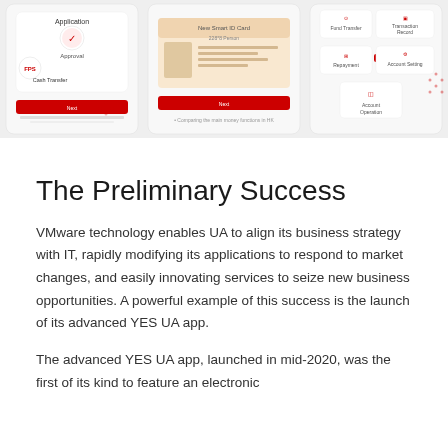[Figure (screenshot): Three mobile app screenshots showing YES UA banking app features: Cash Transfer/Application/Approval screen, New Smart ID Card screen, and Fund Transfer/Transaction Record/Repayment QR Code/Account Setting/Account Operation screen]
The Preliminary Success
VMware technology enables UA to align its business strategy with IT, rapidly modifying its applications to respond to market changes, and easily innovating services to seize new business opportunities. A powerful example of this success is the launch of its advanced YES UA app.
The advanced YES UA app, launched in mid-2020, was the first of its kind to feature an electronic